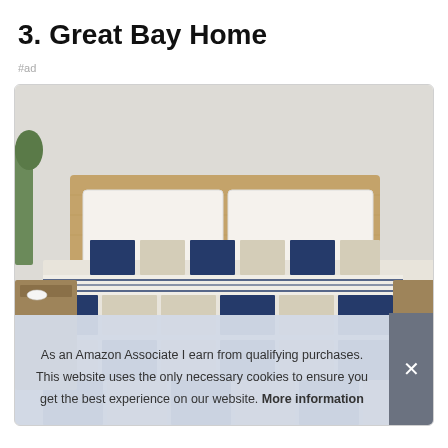3. Great Bay Home
#ad
[Figure (photo): Photo of a bed with a blue and white nautical/ocean patchwork quilt and matching pillow shams, with a wooden headboard and nightstands on either side.]
As an Amazon Associate I earn from qualifying purchases. This website uses the only necessary cookies to ensure you get the best experience on our website. More information